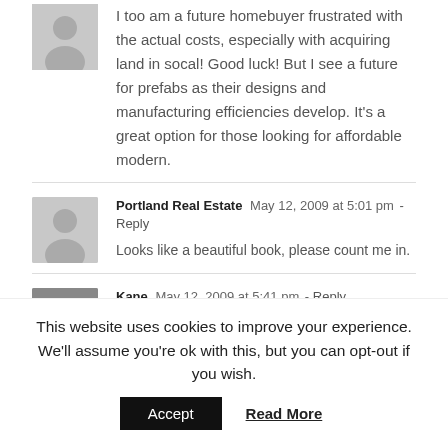I too am a future homebuyer frustrated with the actual costs, especially with acquiring land in socal! Good luck! But I see a future for prefabs as their designs and manufacturing efficiencies develop. It's a great option for those looking for affordable modern.
Portland Real Estate  May 12, 2009 at 5:01 pm - Reply
Looks like a beautiful book, please count me in.
Kane  May 12, 2009 at 5:41 pm - Reply
Good stuff!
matthew harrison smith  May 12, 2009 at 5:47 pm - Reply
This website uses cookies to improve your experience. We'll assume you're ok with this, but you can opt-out if you wish.
Accept  Read More